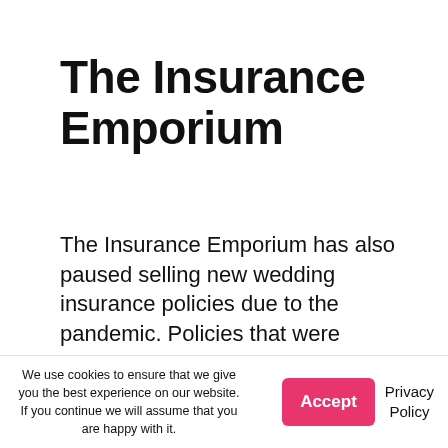The Insurance Emporium
The Insurance Emporium has also paused selling new wedding insurance policies due to the pandemic. Policies that were already purchased remain valid. But according to the insurer’s website, these do not cover claims resulting from a notifiable disease, which it defined as “any disease that is required by law to be
We use cookies to ensure that we give you the best experience on our website. If you continue we will assume that you are happy with it.